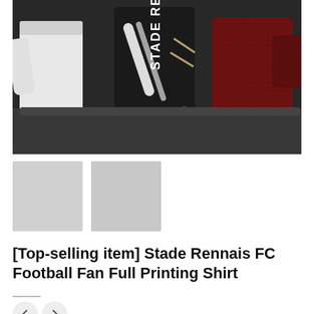[Figure (photo): Product photo showing Stade Rennais FC football shirts/jerseys hanging on a dark background. Center item is a black bag/shirt with 'STADE REN' text printed on it, flanked by a white shirt on the left and a dark red/burgundy shirt on the right.]
[Figure (photo): Two thumbnail placeholder images in light gray, showing alternate product views.]
[Top-selling item] Stade Rennais FC Football Fan Full Printing Shirt